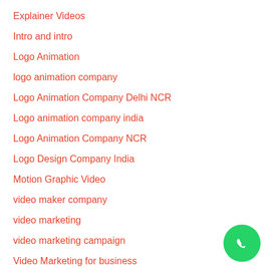Explainer Videos
Intro and intro
Logo Animation
logo animation company
Logo Animation Company Delhi NCR
Logo animation company india
Logo Animation Company NCR
Logo Design Company India
Motion Graphic Video
video maker company
video marketing
video marketing campaign
Video Marketing for business
[Figure (logo): WhatsApp contact button — green circle with white phone handset icon]